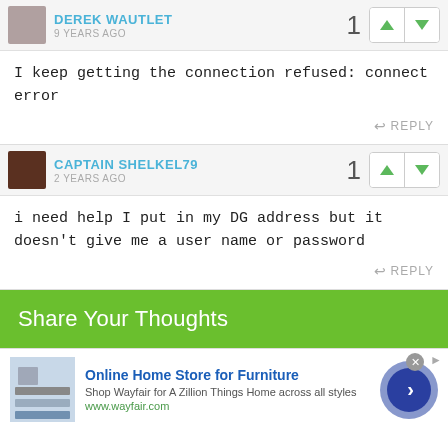DEREK WAUTLET — 9 YEARS AGO
I keep getting the connection refused: connect error
REPLY
CAPTAIN SHELKEL79 — 2 YEARS AGO
i need help I put in my DG address but it doesn't give me a user name or password
REPLY
Share Your Thoughts
[Figure (infographic): Advertisement for Wayfair Online Home Store for Furniture with product image, title, description, URL and navigation arrow circle button]